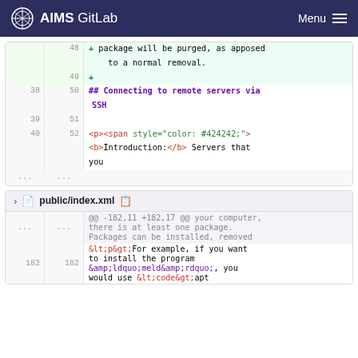AIMS GitLab  Menu
[Figure (screenshot): GitLab diff view showing code changes in a file. Lines 48-49 show added lines (green background) with text 'package will be purged, as apposed to a normal removal.' Lines 38/50 show a markdown heading '## Connecting to remote servers via SSH'. Lines 39/51 are blank. Lines 40/52 show HTML markup with span style and bold introduction text.]
[Figure (screenshot): GitLab diff view for public/index.xml. Shows hunk header '@@ -182,11 +182,17 @@ your computer, there is at least one package. Packages can be installed, removed'. Line 182/182 shows XML entity encoded HTML with For example if you want to install the program &amp;ldquo;meld&amp;rdquo;, you would use &lt;code&gt;apt]